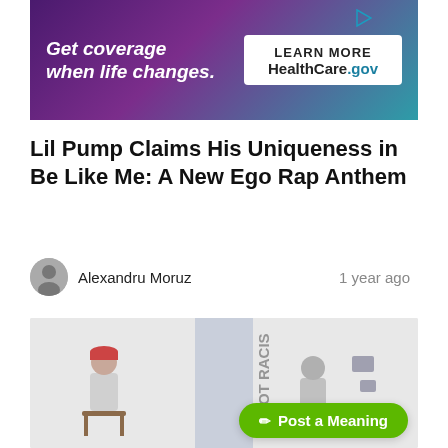[Figure (other): HealthCare.gov advertisement banner: teal/purple background with italic white text 'Get coverage when life changes.' and a white box with 'LEARN MORE' and 'HealthCare.gov']
Lil Pump Claims His Uniqueness in Be Like Me: A New Ego Rap Anthem
Alexandru Moruz    1 year ago
[Figure (illustration): Illustration showing two figures separated by a pillar with text, one seated on a chair with a red cap, the other seated at a desk. A green 'Post a Meaning' button overlays the bottom right.]